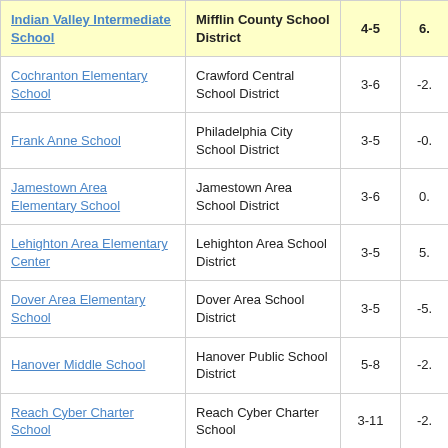| School | District | Grades | Score |
| --- | --- | --- | --- |
| Indian Valley Intermediate School | Mifflin County School District | 4-5 | 6. |
| Cochranton Elementary School | Crawford Central School District | 3-6 | -2. |
| Frank Anne School | Philadelphia City School District | 3-5 | -0. |
| Jamestown Area Elementary School | Jamestown Area School District | 3-6 | 0. |
| Lehighton Area Elementary Center | Lehighton Area School District | 3-5 | 5. |
| Dover Area Elementary School | Dover Area School District | 3-5 | -5. |
| Hanover Middle School | Hanover Public School District | 5-8 | -2. |
| Reach Cyber Charter School | Reach Cyber Charter School | 3-11 | -2. |